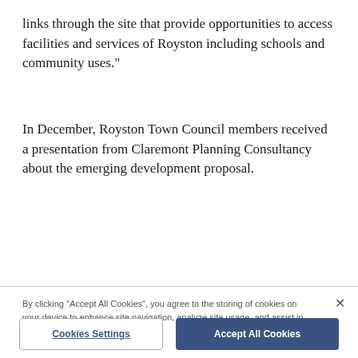links through the site that provide opportunities to access facilities and services of Royston including schools and community uses."
In December, Royston Town Council members received a presentation from Claremont Planning Consultancy about the emerging development proposal.
By clicking "Accept All Cookies", you agree to the storing of cookies on your device to enhance site navigation, analyze site usage, and assist in our marketing efforts.
Cookies Settings
Accept All Cookies